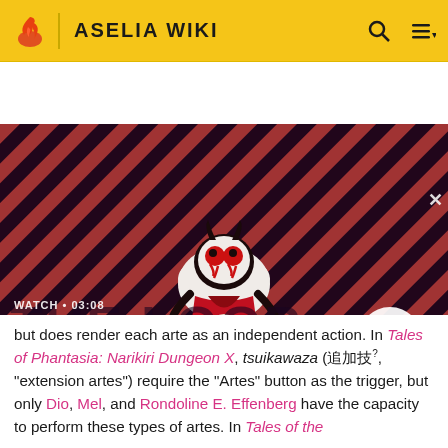ASELIA WIKI
[Figure (screenshot): Video thumbnail showing a cartoon character (lamb/sheep with red eyes and devil horns) against a red and dark purple diagonal striped background. The Loop show logo is visible. Watch time shown as 03:08. Play button visible in bottom right.]
Cult of the Lamb Will Suck You In - The Loop
but does render each arte as an independent action. In Tales of Phantasia: Narikiri Dungeon X, tsuikawaza (追加技?, "extension artes") require the "Artes" button as the trigger, but only Dio, Mel, and Rondoline E. Effenberg have the capacity to perform these types of artes. In Tales of the